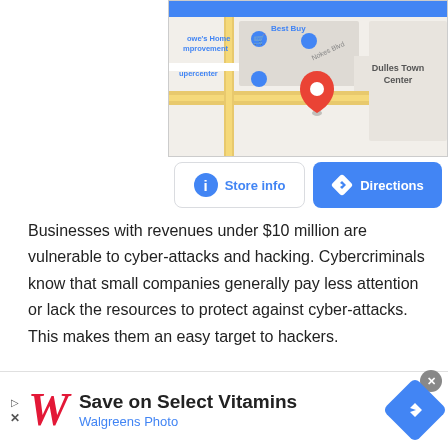[Figure (screenshot): Google Maps screenshot showing Dulles Town Center area with Lowe's Home Improvement, Best Buy, and Supercenter markers, with a red pin indicating a location]
Businesses with revenues under $10 million are vulnerable to cyber-attacks and hacking. Cybercriminals know that small companies generally pay less attention or lack the resources to protect against cyber-attacks. This makes them an easy target to hackers.
Fortunately, things are changing, and small businesses have
[Figure (screenshot): Advertisement banner: Save on Select Vitamins - Walgreens Photo, with Walgreens W logo and navigation arrow icon]